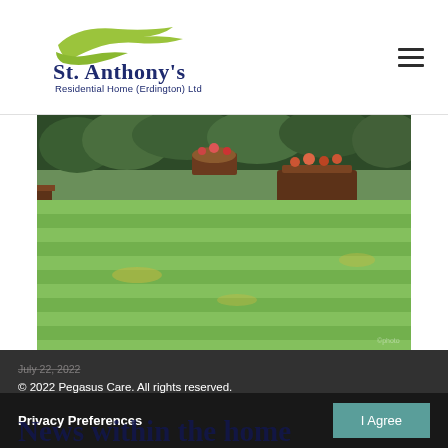[Figure (logo): St. Anthony's Residential Home (Erdington) Ltd logo with green swoosh/bird graphic above the text]
[Figure (photo): Garden photo showing a large well-manicured lawn with striped mowing pattern, garden benches and flower planters in the background, surrounded by hedges and trees]
© 2022 Pegasus Care. All rights reserved.
July 22, 2022
Privacy Preferences
I Agree
News within the home